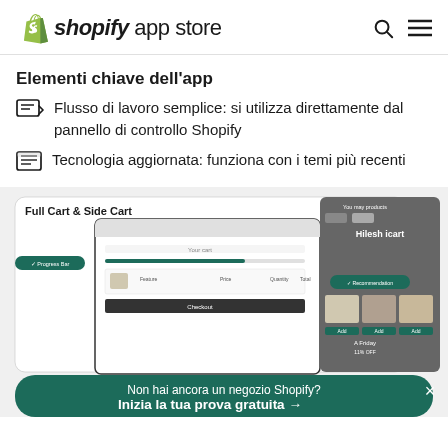shopify app store
Elementi chiave dell’app
Flusso di lavoro semplice: si utilizza direttamente dal pannello di controllo Shopify
Tecnologia aggiornata: funziona con i temi più recenti
[Figure (screenshot): Screenshot of a Shopify app showing Full Cart & Side Cart interface with a progress bar, cart items, and product recommendations panel. A dark green CTA banner at the bottom reads 'Non hai ancora un negozio Shopify? Inizia la tua prova gratuita →' with a close button.]